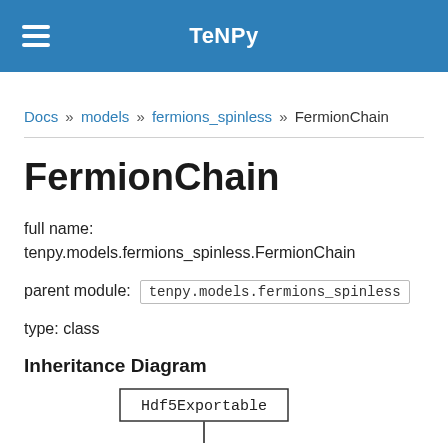TeNPy
Docs » models » fermions_spinless » FermionChain
FermionChain
full name: tenpy.models.fermions_spinless.FermionChain
parent module: tenpy.models.fermions_spinless
type: class
Inheritance Diagram
[Figure (other): Inheritance diagram node showing Hdf5Exportable class box with connector line below]